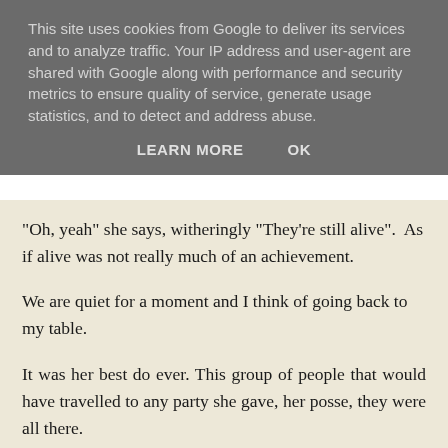This site uses cookies from Google to deliver its services and to analyze traffic. Your IP address and user-agent are shared with Google along with performance and security metrics to ensure quality of service, generate usage statistics, and to detect and address abuse.
LEARN MORE    OK
"Oh, yeah" she says, witheringly "They're still alive".  As if alive was not really much of an achievement.
We are quiet for a moment and I think of going back to my table.
It was her best do ever. This group of people that would have travelled to any party she gave, her posse, they were all there.
I think back to her friend Mark. I see his cat-shaped face,